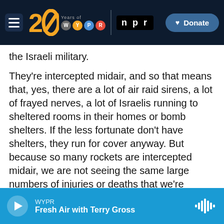[Figure (screenshot): WYPR 20 Years navigation bar with NPR logo and Donate button]
the Israeli military.
They're intercepted midair, and so that means that, yes, there are a lot of air raid sirens, a lot of frayed nerves, a lot of Israelis running to sheltered rooms in their homes or bomb shelters. If the less fortunate don't have shelters, they run for cover anyway. But because so many rockets are intercepted midair, we are not seeing the same large numbers of injuries or deaths that we're seeing in Gaza.
CORNISH: So then help us understand the reports about Israel using deadly force against Palestinians
[Figure (screenshot): WYPR audio player bar showing Fresh Air with Terry Gross]